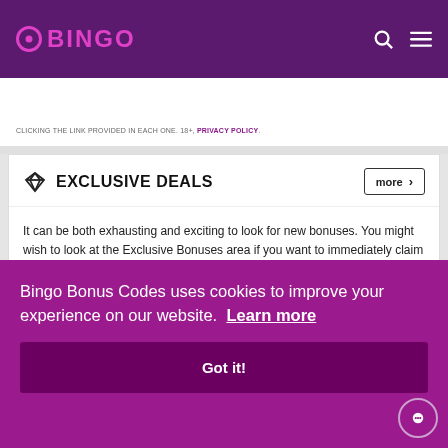BINGO
CLICKING THE LINK PROVIDED IN EACH ONE. 18+, PRIVACY POLICY.
EXCLUSIVE DEALS
It can be both exhausting and exciting to look for new bonuses. You might wish to look at the Exclusive Bonuses area if you want to immediately claim a bonus that is guaranteed to work. These coupon codes are the result of a nice team work between our team and the casino/bingo side, trying to offer you some nice extra boost
new ste. If cial
a da constantly, as a result of our dedication and commitment.
Bingo Bonus Codes uses cookies to improve your experience on our website.  Learn more
Got it!